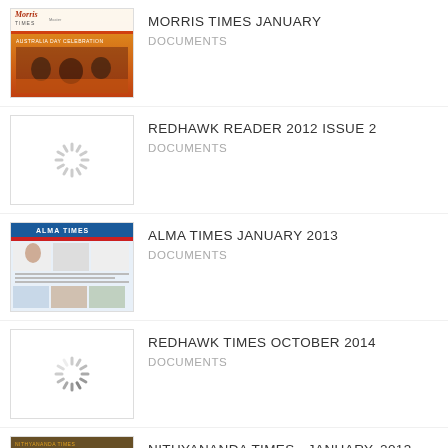[Figure (screenshot): Thumbnail for Morris Times January - colored magazine cover with Australia Day Celebration text]
MORRIS TIMES JANUARY
DOCUMENTS
[Figure (screenshot): Loading spinner placeholder for Redhawk Reader 2012 Issue 2]
REDHAWK READER 2012 ISSUE 2
DOCUMENTS
[Figure (screenshot): Thumbnail for Alma Times January 2013 - newspaper front page]
ALMA TIMES JANUARY 2013
DOCUMENTS
[Figure (screenshot): Loading spinner placeholder for Redhawk Times October 2014]
REDHAWK TIMES OCTOBER 2014
DOCUMENTS
[Figure (screenshot): Thumbnail for Nithyananda Times January 2013 - person in orange robe]
NITHYANANDA TIMES - JANUARY, 2013
DOCUMENTS